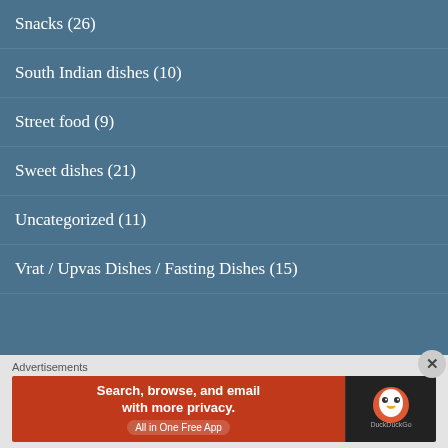Snacks (26)
South Indian dishes (10)
Street food (9)
Sweet dishes (21)
Uncategorized (11)
Vrat / Upvas Dishes / Fasting Dishes (15)
TOP POSTS & PAGES
Advertisements
[Figure (screenshot): DuckDuckGo advertisement banner: orange left side with text 'Search, browse, and email with more privacy. All in One Free App', dark right side with DuckDuckGo logo]